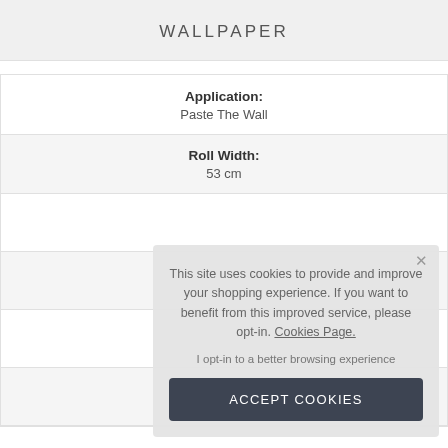WALLPAPER
| Application: | Paste The Wall |
| Roll Width: | 53 cm |
|  |  |
|  |  |
|  |  |
|  |  |
This site uses cookies to provide and improve your shopping experience. If you want to benefit from this improved service, please opt-in. Cookies Page. I opt-in to a better browsing experience
ACCEPT COOKIES